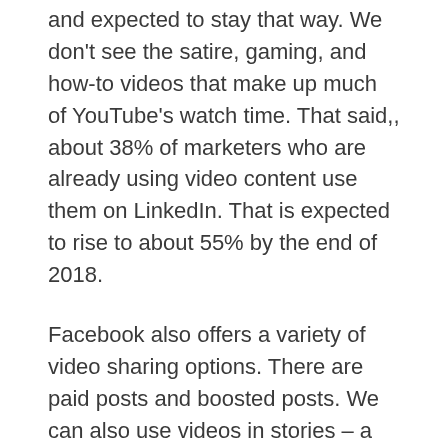and expected to stay that way. We don't see the satire, gaming, and how-to videos that make up much of YouTube's watch time. That said,, about 38% of marketers who are already using video content use them on LinkedIn. That is expected to rise to about 55% by the end of 2018.
Facebook also offers a variety of video sharing options. There are paid posts and boosted posts. We can also use videos in stories – a blatant Snapchat rip-off – and of course in organic posts. Boosting an organic video post is an excellent way to gain more insights on your audience. Sixty-eight percent of video marketers have used videos on Facebook.